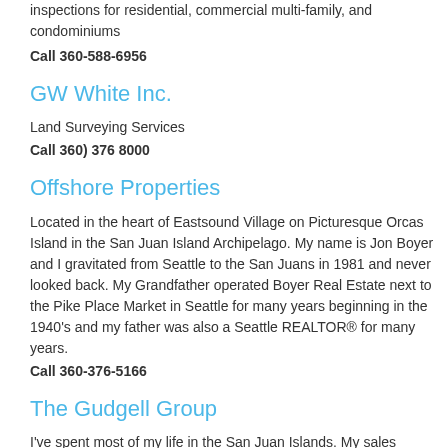inspections for residential, commercial multi-family, and condominiums
Call 360-588-6956
GW White Inc.
Land Surveying Services
Call 360) 376 8000
Offshore Properties
Located in the heart of Eastsound Village on Picturesque Orcas Island in the San Juan Island Archipelago. My name is Jon Boyer and I gravitated from Seattle to the San Juans in 1981 and never looked back. My Grandfather operated Boyer Real Estate next to the Pike Place Market in Seattle for many years beginning in the 1940's and my father was also a Seattle REALTOR® for many years.
Call 360-376-5166
The Gudgell Group
I've spent most of my life in the San Juan Islands. My sales record of consistent top-producer is a